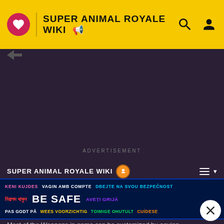SUPER ANIMAL ROYALE WIKI
ADVERTISEMENT
SUPER ANIMAL ROYALE WIKI
Weapon Skins
✏ EDIT
[Figure (screenshot): BE SAFE multilingual safety banner advertisement with text in multiple languages: KENI KUJDES, VAGIN AMB COMPTE, DBEJTE NA SVOU BEZPEČNOST, নিরাপদ থাকুন, BE SAFE, AVEȚI GRIJĂ, PAS GODT PÅ, WEES VOORZICHTIG, TOIMIGE OHUTULT, CUÍDESE]
Most of the Weapons in game can be customized by equipp... weapon skins have a chance to drop after completing